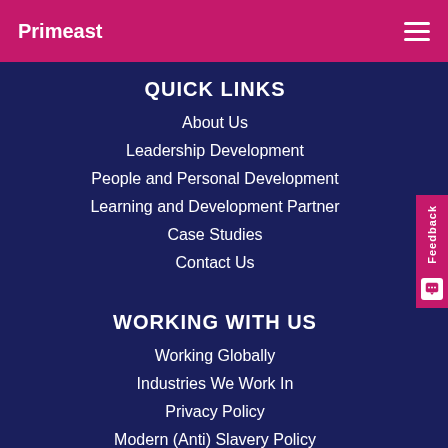Primeast
QUICK LINKS
About Us
Leadership Development
People and Personal Development
Learning and Development Partner
Case Studies
Contact Us
WORKING WITH US
Working Globally
Industries We Work In
Privacy Policy
Modern (Anti) Slavery Policy
Become an Associate